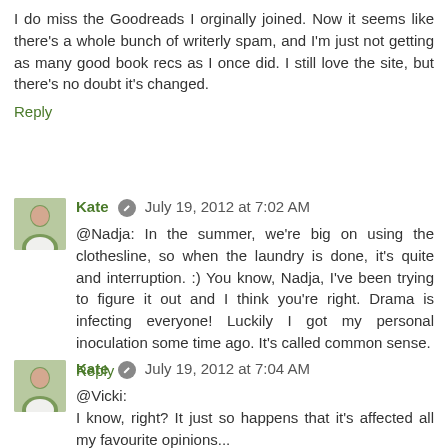I do miss the Goodreads I orginally joined. Now it seems like there's a whole bunch of writerly spam, and I'm just not getting as many good book recs as I once did. I still love the site, but there's no doubt it's changed.
Reply
Kate  July 19, 2012 at 7:02 AM
@Nadja: In the summer, we're big on using the clothesline, so when the laundry is done, it's quite and interruption. :) You know, Nadja, I've been trying to figure it out and I think you're right. Drama is infecting everyone! Luckily I got my personal inoculation some time ago. It's called common sense.
Reply
Kate  July 19, 2012 at 7:04 AM
@Vicki:
I know, right? It just so happens that it's affected all my favourite opinions...